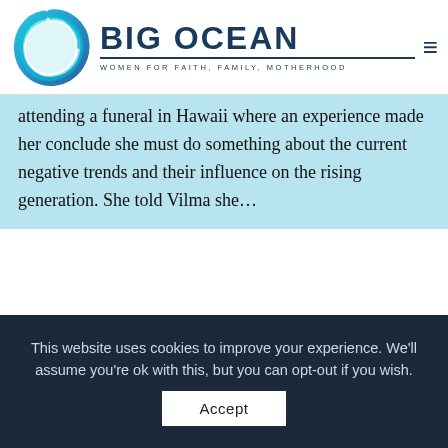[Figure (logo): Big Ocean Women logo — circular teal/blue brushstroke with organization name BIG OCEAN and tagline WOMEN FOR FAITH, FAMILY, MOTHERHOOD]
attending a funeral in Hawaii where an experience made her conclude she must do something about the current negative trends and their influence on the rising generation. She told Vilma she…
[Figure (photo): A blurred purple and pink sky or seascape photo]
This website uses cookies to improve your experience. We'll assume you're ok with this, but you can opt-out if you wish.
Accept